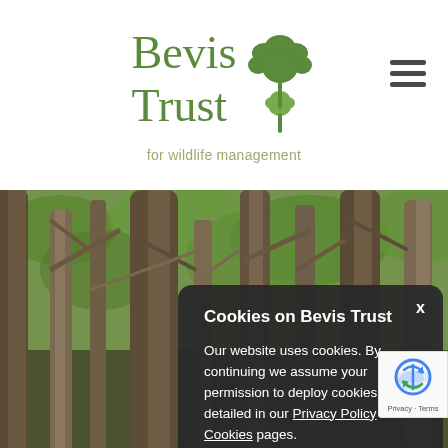[Figure (logo): Bevis Trust for wildlife management logo with green oak leaf icon]
[Figure (photo): Forest scene with bare tree trunks and green foliage in the background]
Cookies on Bevis Trust
Our website uses cookies. By continuing we assume your permission to deploy cookies, as detailed in our Privacy Policy and Cookies pages.
[Figure (logo): Google reCAPTCHA badge with Privacy and Terms links]